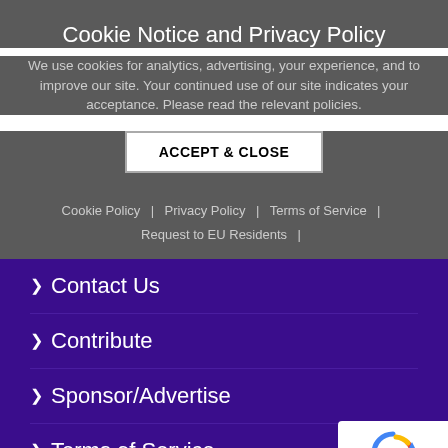Cookie Notice and Privacy Policy
We use cookies for analytics, advertising, your experience, and to improve our site. Your continued use of our site indicates your acceptance. Please read the relevant policies.
ACCEPT & CLOSE
Cookie Policy | Privacy Policy | Terms of Service |
Request to EU Residents |
> Contact Us
> Contribute
> Sponsor/Advertise
> Terms of Service
> Privacy Policy
[Figure (logo): reCAPTCHA badge with circular arrow logo and text 'Privacy - Terms']